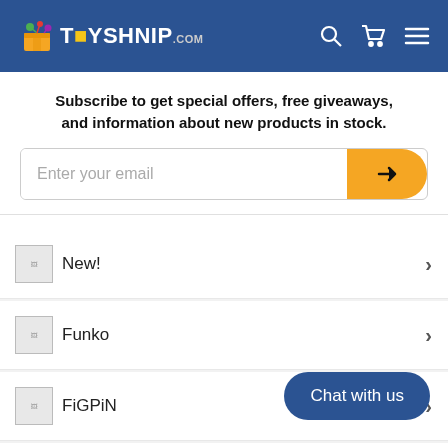[Figure (logo): ToyShnip.com logo with colorful box icon on dark blue header background]
Subscribe to get special offers, free giveaways, and information about new products in stock.
Enter your email
New!
Funko
FiGPiN
Marvel Legends
McFarlane Toys
Chat with us